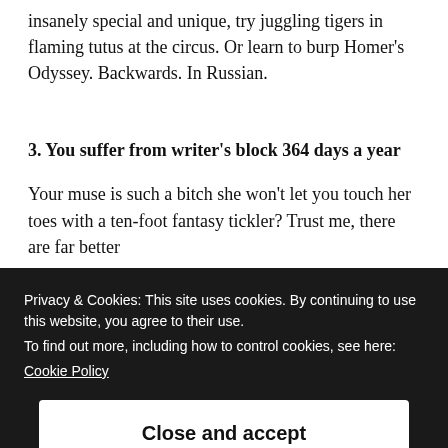insanely special and unique, try juggling tigers in flaming tutus at the circus. Or learn to burp Homer's Odyssey. Backwards. In Russian.
3. You suffer from writer's block 364 days a year
Your muse is such a bitch she won't let you touch her toes with a ten-foot fantasy tickler? Trust me, there are far better
Privacy & Cookies: This site uses cookies. By continuing to use this website, you agree to their use.
To find out more, including how to control cookies, see here:
Cookie Policy
Close and accept
If you sit down to write regularly but every word you type